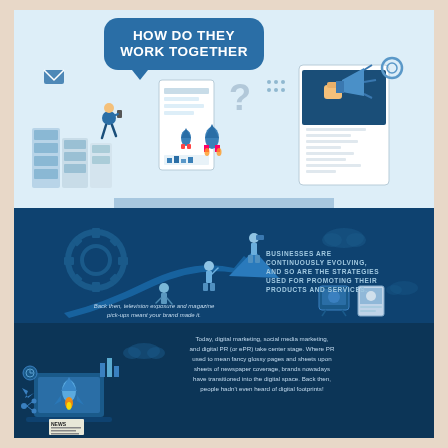HOW DO THEY WORK TOGETHER
[Figure (infographic): Top section: light blue background with illustrated figures of a person using a phone, file cabinets, rockets launching, a question mark, content cards/screens, a hand holding a megaphone, and digital marketing icons. Speech bubble title reads 'HOW DO THEY WORK TOGETHER'.]
BUSINESSES ARE CONTINUOUSLY EVOLVING, AND SO ARE THE STRATEGIES USED FOR PROMOTING THEIR PRODUCTS AND SERVICES.
[Figure (infographic): Middle dark blue section with illustrated figures climbing a large upward arrow, a gear/cog, a person with binoculars on top, clouds, and television/magazine icons representing traditional media.]
Back then, television exposure and magazine pick-ups meant your brand made it.
[Figure (infographic): Lower dark blue section with a rocket launch illustration, laptop, news icon, social media icons, and digital marketing imagery.]
Today, digital marketing, social media marketing, and digital PR (or ePR) take center stage. Where PR used to mean fancy glossy pages and sheets upon sheets of newspaper coverage, brands nowadays have transitioned into the digital space. Back then, people hadn't even heard of digital footprints!